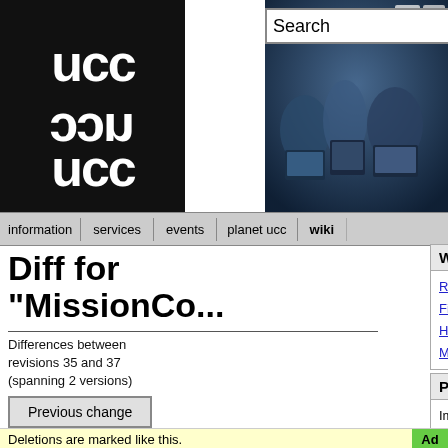[Figure (logo): UCC logo in black and white]
[Figure (photo): Banner photo of people with computers, blue tinted]
information | services | events | planet ucc | wiki
Diff for "MissionCo..."
Differences between revisions 35 and 37 (spanning 2 versions)
Previous change
← ← Revision 35 as of ...
Size: 2502
Editor: DavidAdam
Comment:
Wiki
RecentChanges
FindPage
HelpContents
MissionControl
Page
Immutable Page
Info
Attachments
More Actions:
User
Login
Deletions are marked like this.